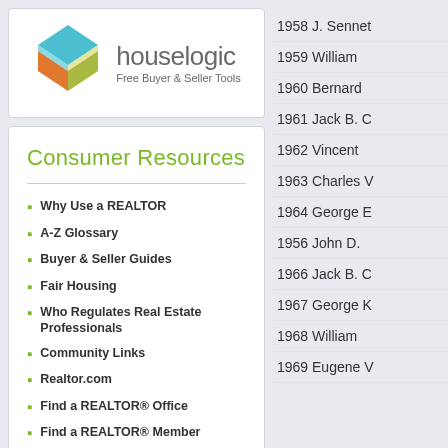[Figure (logo): HouseLogic logo with geometric box icon and text 'houselogic Free Buyer & Seller Tools']
Consumer Resources
Why Use a REALTOR
A-Z Glossary
Buyer & Seller Guides
Fair Housing
Who Regulates Real Estate Professionals
Community Links
Realtor.com
Find a REALTOR® Office
Find a REALTOR® Member
1958 J. Sennet
1959 William
1960 Bernard
1961 Jack B. C
1962 Vincent
1963 Charles V
1964 George E
1956 John D.
1966 Jack B. C
1967 George K
1968 William
1969 Eugene V